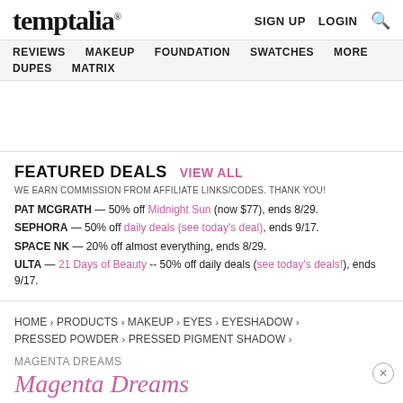temptalia® | SIGN UP | LOGIN | Search
REVIEWS | MAKEUP | FOUNDATION | SWATCHES | MORE | DUPES | MATRIX
FEATURED DEALS  VIEW ALL
WE EARN COMMISSION FROM AFFILIATE LINKS/CODES. THANK YOU!
PAT MCGRATH — 50% off Midnight Sun (now $77), ends 8/29.
SEPHORA — 50% off daily deals (see today's deal), ends 9/17.
SPACE NK — 20% off almost everything, ends 8/29.
ULTA — 21 Days of Beauty -- 50% off daily deals (see today's deals!), ends 9/17.
HOME > PRODUCTS > MAKEUP > EYES > EYESHADOW > PRESSED POWDER > PRESSED PIGMENT SHADOW >
MAGENTA DREAMS
Magenta Dreams